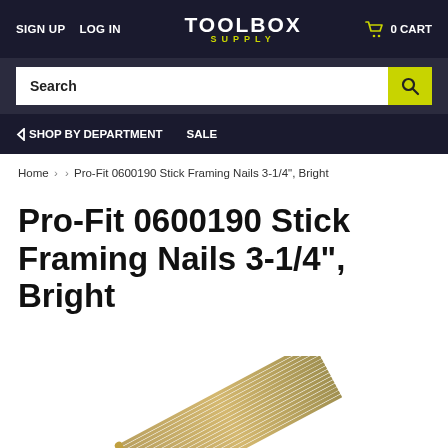SIGN UP  LOG IN  TOOLBOX SUPPLY  0 CART
Search
< SHOP BY DEPARTMENT  SALE
Home › › Pro-Fit 0600190 Stick Framing Nails 3-1/4", Bright
Pro-Fit 0600190 Stick Framing Nails 3-1/4", Bright
[Figure (photo): Stick framing nails fanned out at the bottom of the page]